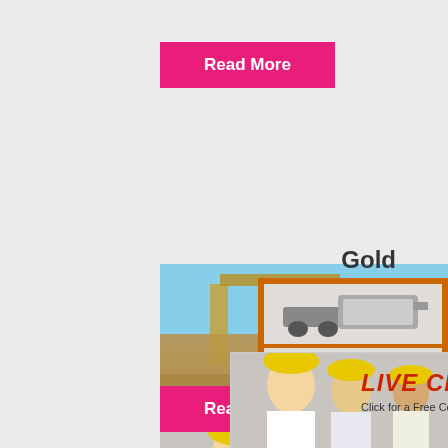Read More
[Figure (photo): Construction site with heavy machinery and workers wearing yellow hard hats, overlaid with a live chat popup showing workers in hard hats, LIVE CHAT title in red, subtitle 'Click for a Free Consultation', Chat now and Chat later buttons]
Pros... Panning
Gold has been reported throughout Alask...
[Figure (photo): Orange sidebar with two mining machine images, 'Enjoy 3% discount' yellow bar, 'Click to Chat' in yellow, Enquiry section, limingjlmofen@sina.com email]
Gold
Read More